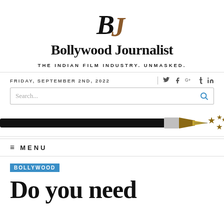[Figure (logo): Bollywood Journalist logo: stylized 'BJ' calligraphic monogram in black and brown]
Bollywood Journalist
THE INDIAN FILM INDUSTRY. UNMASKED.
FRIDAY, SEPTEMBER 2ND, 2022
[Figure (illustration): Decorative banner with a fountain pen and gold stars on a black and silver background]
MENU
BOLLYWOOD
Do you need